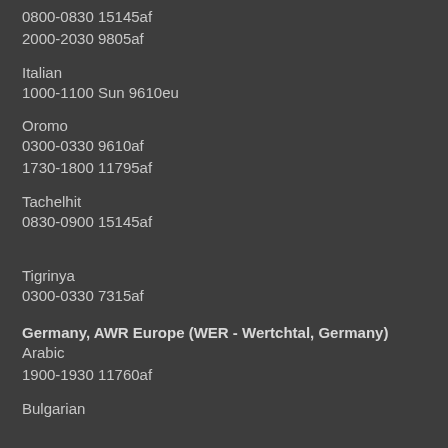0800-0830 15145af
2000-2030 9805af
Italian
1000-1100 Sun 9610eu
Oromo
0300-0330 9610af
1730-1800 11795af
Tachelhit
0830-0900 15145af
Tigrinya
0300-0330 7315af
Germany, AWR Europe (WER - Wertchtal, Germany)
Arabic
1900-1930 11760af
Bulgarian